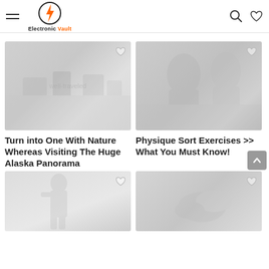[Figure (logo): Electronic Vault logo with lightning bolt in circle and brand name]
[Figure (photo): Travel/nature photo placeholder - Alaska Panorama article]
Turn into One With Nature Whereas Visiting The Huge Alaska Panorama
[Figure (photo): Fitness/exercise photo placeholder - Physique Sort Exercises article]
Physique Sort Exercises >> What You Must Know!
[Figure (photo): Bottom left article image placeholder - figure/person silhouette]
[Figure (photo): Bottom right article image placeholder - objects/shoes]